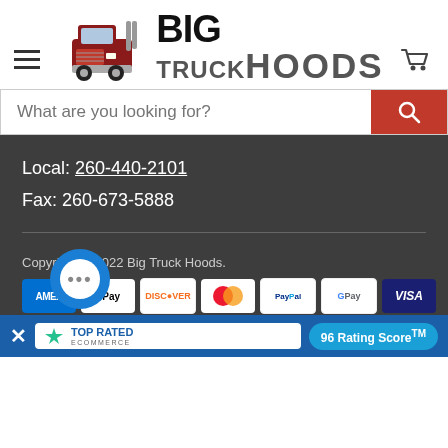[Figure (logo): Big Truck Hoods logo with red semi truck illustration and bold text reading BIG TRUCKHOODS]
[Figure (screenshot): Search bar with placeholder text 'What are you looking for?' and red search button]
Local: 260-440-2101
Fax: 260-673-5888
Copyright © 2022 Big Truck Hoods.
[Figure (infographic): Payment method icons: American Express, Apple Pay, Discover, Mastercard, PayPal, Google Pay, Visa]
[Figure (infographic): Top Rated Ecommerce badge with 96 Rating Score™ in blue banner at bottom]